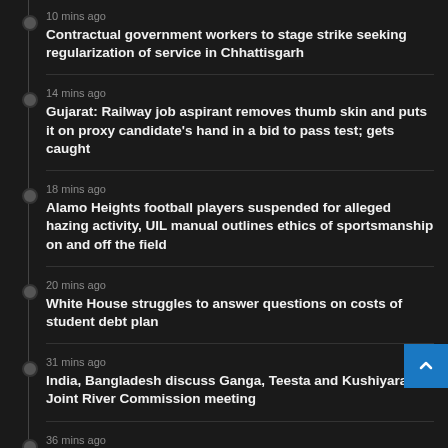10 mins ago
Contractual government workers to stage strike seeking regularization of service in Chhattisgarh
14 mins ago
Gujarat: Railway job aspirant removes thumb skin and puts it on proxy candidate's hand in a bid to pass test; gets caught
18 mins ago
Alamo Heights football players suspended for alleged hazing activity, UIL manual outlines ethics of sportsmanship on and off the field
20 mins ago
White House struggles to answer questions on costs of student debt plan
31 mins ago
India, Bangladesh discuss Ganga, Teesta and Kushiyara in Joint River Commission meeting
36 mins ago
ubs: Eurozone is already in recession on energy squeeze,